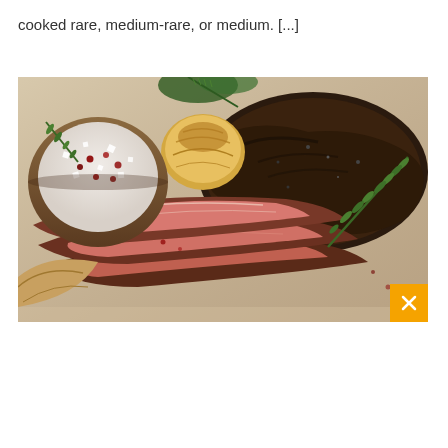cooked rare, medium-rare, or medium. [...]
[Figure (photo): Sliced grilled steak served on a wooden board with rosemary garnish, a wooden bowl of coarse salt with peppercorns, and roasted garlic. The steak shows a pink interior with a charred exterior crust. A close-up button overlay appears in the bottom-right corner of the image.]